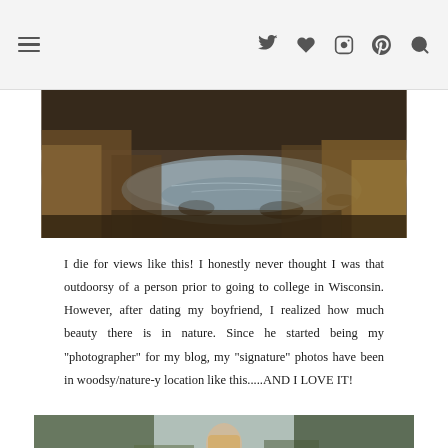Navigation header with menu icon and social icons: Twitter, heart/Bloglovin, Instagram, Pinterest, Search
[Figure (photo): Outdoor nature scene showing a rocky river or stream with rushing water, surrounded by autumn grasses and vegetation in muted brown and golden tones under an overcast sky.]
I die for views like this! I honestly never thought I was that outdoorsy of a person prior to going to college in Wisconsin. However, after dating my boyfriend, I realized how much beauty there is in nature. Since he started being my "photographer" for my blog, my "signature" photos have been in woodsy/nature-y location like this.....AND I LOVE IT!
[Figure (photo): Outdoor photo of a blonde woman standing in a nature/woodsy location near a river, with trees and sky in the background — partial view, cropped at page bottom.]